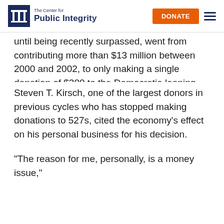The Center for Public Integrity | DONATE
until being recently surpassed, went from contributing more than $13 million between 2000 and 2002, to only making a single donation of $300 to the Democratic-leaning MoveOn.org Voter Fund, which has been known for its controversial ads against Bush.
Steven T. Kirsch, one of the largest donors in previous cycles who has stopped making donations to 527s, cited the economy's effect on his personal business for his decision.
“The reason for me, personally, is a money issue,”